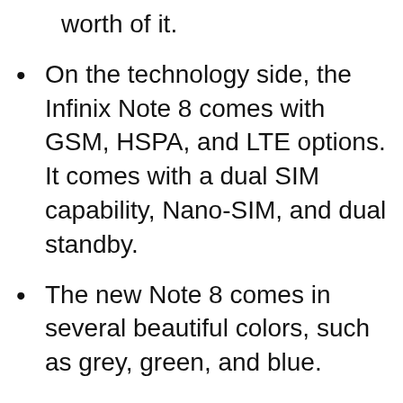worth of it.
On the technology side, the Infinix Note 8 comes with GSM, HSPA, and LTE options. It comes with a dual SIM capability, Nano-SIM, and dual standby.
The new Note 8 comes in several beautiful colors, such as grey, green, and blue.
The new Infinix Note 8 uses a non-removable powerful 5200 mAh battery with a fast-charging 18W.
The operating system is an Android